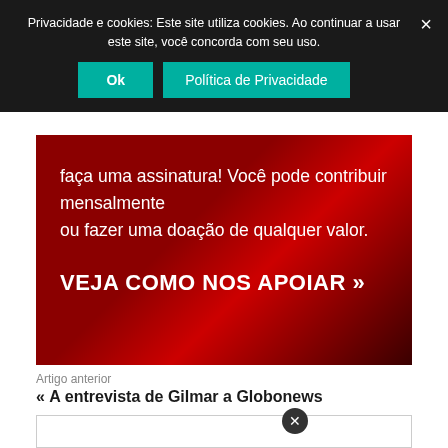Privacidade e cookies: Este site utiliza cookies. Ao continuar a usar este site, você concorda com seu uso.
Ok | Política de Privacidade
faça uma assinatura! Você pode contribuir mensalmente ou fazer uma doação de qualquer valor.
VEJA COMO NOS APOIAR »
Artigo anterior
« A entrevista de Gilmar a Globonews
Próximo artigo
A entrevista de Randolfe Rodrigues ao Rafinha Bastos »